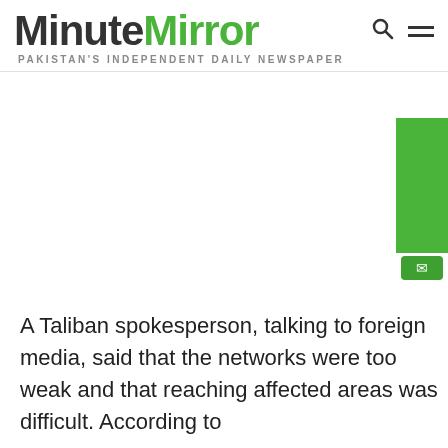MinuteMirror — PAKISTAN'S INDEPENDENT DAILY NEWSPAPER
A Taliban spokesperson, talking to foreign media, said that the networks were too weak and that reaching affected areas was difficult. According to